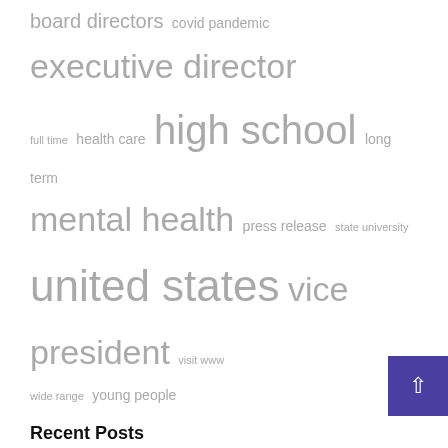[Figure (other): Tag cloud with terms: board directors, covid pandemic, executive director, full time, health care, high school, long term, mental health, press release, state university, united states, vice president, visit www, wide range, young people]
Recent Posts
Governor Lamont Announces Application Period for Connecticut Energy Assistance Program's 2022-2023 Winter Season Begins September 1
Cherrington Media Launches Gold Standard for Affiliate Mentoring
PeaceHealth Appoints Michelle James, BSN, RN Senior President of Patient Care Services and Chief Nursing O...